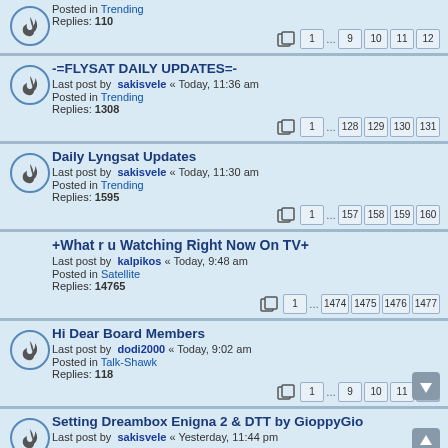Posted in Trending
Replies: 110
Pages: 1 ... 9 10 11 12
-=FLYSAT DAILY UPDATES=-
Last post by sakisvele « Today, 11:36 am
Posted in Trending
Replies: 1308
Pages: 1 ... 128 129 130 131
Daily Lyngsat Updates
Last post by sakisvele « Today, 11:30 am
Posted in Trending
Replies: 1595
Pages: 1 ... 157 158 159 160
+What r u Watching Right Now On TV+
Last post by kalpikos « Today, 9:48 am
Posted in Satellite
Replies: 14765
Pages: 1 ... 1474 1475 1476 1477
Hi Dear Board Members
Last post by dodi2000 « Today, 9:02 am
Posted in Talk-Shawk
Replies: 118
Pages: 1 ... 9 10 11 12
Setting Dreambox Enigna 2 & DTT by GioppyGio
Last post by sakisvele « Yesterday, 11:44 pm